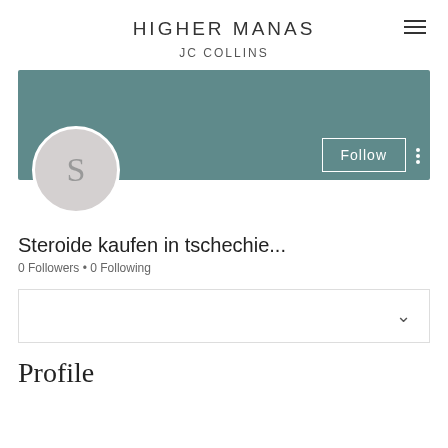HIGHER MANAS
JC COLLINS
[Figure (screenshot): User profile card with teal banner, circular avatar with letter S, Follow button, and three-dot menu]
Steroide kaufen in tschechie...
0 Followers • 0 Following
Profile